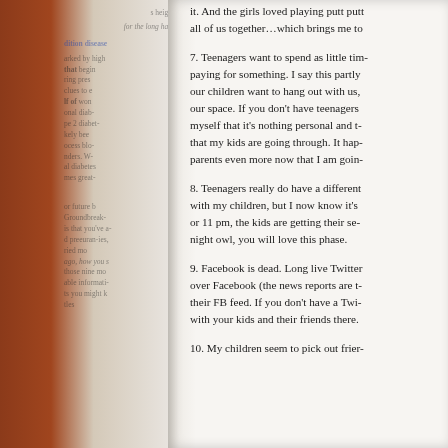it. And the girls loved playing putt putt all of us together…which brings me to
7. Teenagers want to spend as little time paying for something. I say this partly our children want to hang out with us, our space. If you don't have teenagers myself that it's nothing personal and t that my kids are going through. It hap parents even more now that I am goin
8. Teenagers really do have a different with my children, but I now know it's or 11 pm, the kids are getting their sec night owl, you will love this phase.
9. Facebook is dead. Long live Twitter over Facebook (the news reports are t their FB feed. If you don't have a Twi with your kids and their friends there.
10. My children seem to pick out frier